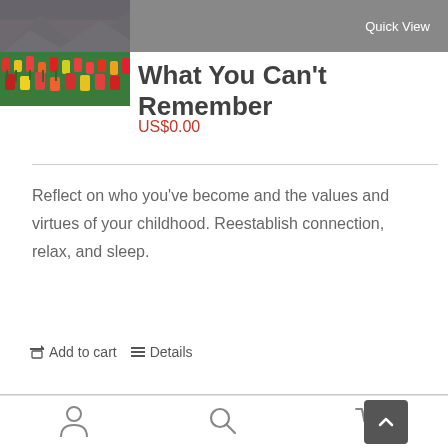[Figure (photo): Flower field with colorful tulips and mountain landscape in background]
Quick View
What You Can't Remember
US$0.00
Reflect on who you've become and the values and virtues of your childhood. Reestablish connection, relax, and sleep.
Add to cart   Details